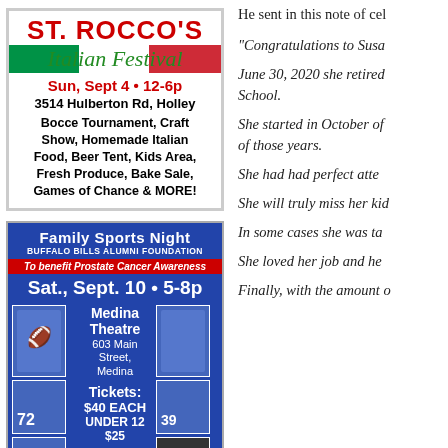[Figure (infographic): St. Rocco's Italian Festival advertisement. Red text title 'ST. ROCCO'S', green italic 'Italian Festival', date 'Sun, Sept 4 • 12-6p', address '3514 Hulberton Rd, Holley', list of activities including Bocce Tournament, Craft Show, Homemade Italian Food, Beer Tent, Kids Area, Fresh Produce, Bake Sale, Games of Chance & MORE!]
[Figure (infographic): Family Sports Night advertisement for Buffalo Bills Alumni Foundation. Blue background with red accents. Date: Sat., Sept. 10 • 5-8p. Location: Medina Theatre, 603 Main Street, Medina. Tickets: $40 EACH, UNDER 12 $25. Click for more info. Features player photos with jersey numbers 72, 39, 40.]
He sent in this note of cel
“Congratulations to Susa
June 30, 2020 she retired School.
She started in October of of those years.
She had had perfect atte
She will truly miss her kid
In some cases she was ta
She loved her job and he
Finally, with the amount o